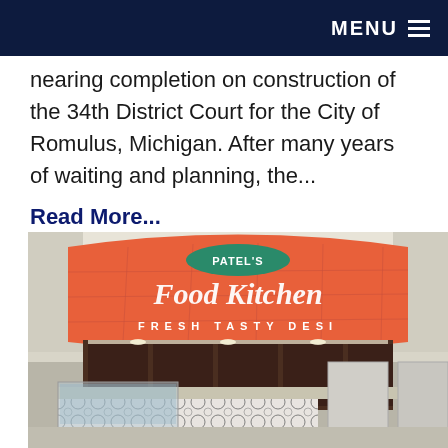MENU
nearing completion on construction of the 34th District Court for the City of Romulus, Michigan. After many years of waiting and planning, the…
Read More…
[Figure (photo): Interior photo of Patel's Food Kitchen restaurant stall showing a large orange curved signage with 'PATEL'S Food Kitchen FRESH TASTY DESI' text, and a food counter below with patterned tile front.]